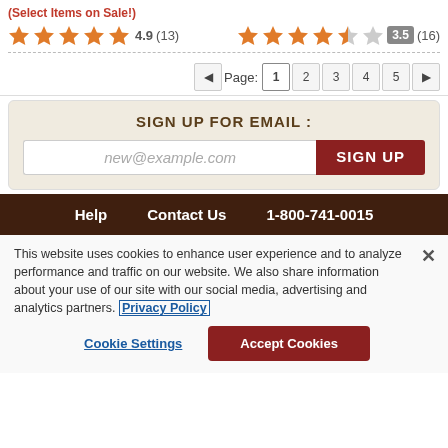(Select Items on Sale!)
[Figure (infographic): 5 orange stars with rating 4.9 and (13) reviews]
[Figure (infographic): 4 orange stars, 1 half orange star, 1 empty star with rating badge 3.5 and (16) reviews]
Page: 1 2 3 4 5
SIGN UP FOR EMAIL :
new@example.com
SIGN UP
Help   Contact Us   1-800-741-0015
This website uses cookies to enhance user experience and to analyze performance and traffic on our website. We also share information about your use of our site with our social media, advertising and analytics partners. Privacy Policy
Cookie Settings
Accept Cookies